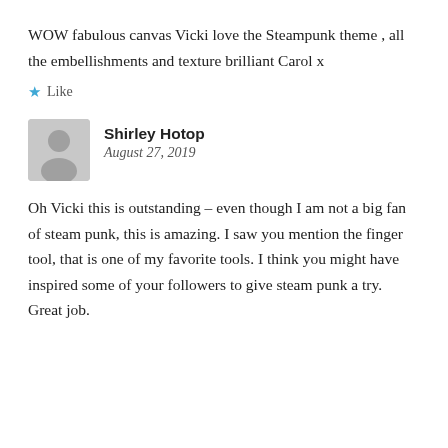WOW fabulous canvas Vicki love the Steampunk theme , all the embellishments and texture brilliant Carol x
★ Like
Shirley Hotop
August 27, 2019
Oh Vicki this is outstanding – even though I am not a big fan of steam punk, this is amazing. I saw you mention the finger tool, that is one of my favorite tools. I think you might have inspired some of your followers to give steam punk a try. Great job.